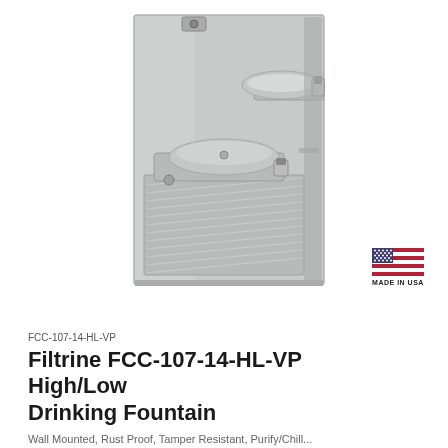[Figure (photo): Wall-mounted Filtrine FCC-107-14-HL-VP High/Low Drinking Fountain in stainless steel, showing two drinking basins at different heights mounted on a rectangular wall panel with louvered grill at the bottom.]
[Figure (illustration): Made in USA badge showing an American flag with red, white, and blue stripes and stars, with text MADE IN USA below.]
FCC-107-14-HL-VP
Filtrine FCC-107-14-HL-VP High/Low Drinking Fountain
Wall Mounted, Rust Proof, Tamper Resistant, Purify/Chill...